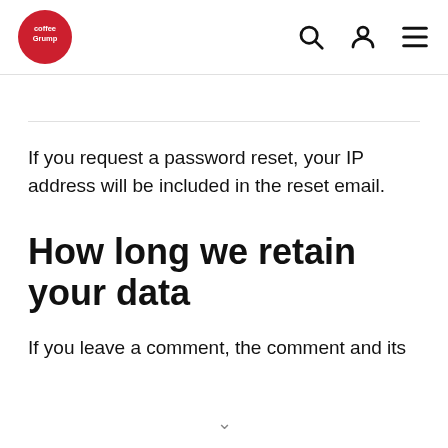Coffee Grump logo with search, user, and menu icons
If you request a password reset, your IP address will be included in the reset email.
How long we retain your data
If you leave a comment, the comment and its